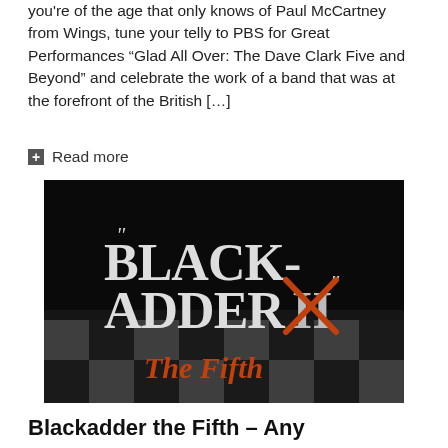you're of the age that only knows of Paul McCartney from Wings, tune your telly to PBS for Great Performances “Glad All Over: The Dave Clark Five and Beyond” and celebrate the work of a band that was at the forefront of the British […]
⊞  Read more
[Figure (photo): Title card for 'Blackadder the Fifth' - white gothic text on dark checkered background with orange X marking through the roman numeral II]
Blackadder the Fifth – Any